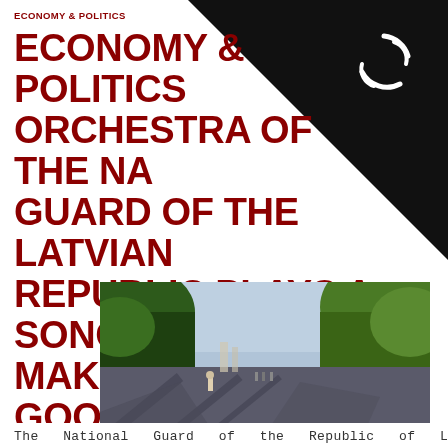ECONOMY & POLITICS
ORCHESTRA OF THE NATIONAL GUARD OF THE LATVIAN REPUBLIC PLAYS A SONG TO MAKE YOU FEEL GOOD
[Figure (photo): Outdoor park/street scene with large trees, a wide paved path with pedestrians, blue-grey cloudy sky and green foliage.]
The National Guard of the Republic of Latvia – the